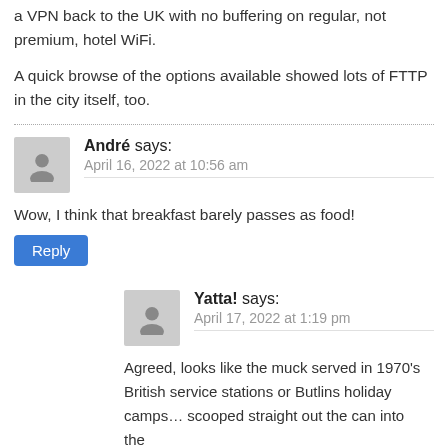a VPN back to the UK with no buffering on regular, not premium, hotel WiFi.
A quick browse of the options available showed lots of FTTP in the city itself, too.
André says:
April 16, 2022 at 10:56 am
Wow, I think that breakfast barely passes as food!
Reply
Yatta! says:
April 17, 2022 at 1:19 pm
Agreed, looks like the muck served in 1970's British service stations or Butlins holiday camps… scooped straight out the can into the